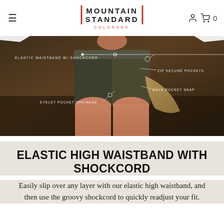Mountain Standard Colorado — navigation header with hamburger menu, logo, user icon, cart icon with 0 count
[Figure (photo): Close-up photo of a woman wearing dark olive/green shorts outdoors with annotated feature callouts: 'ELASTIC WAISTBAND W/ SHOCKCORD', 'ZIP SECURE POCKETS', 'BACK POCKET SNAP', 'EYELET POCKET DRAINAGE']
ELASTIC HIGH WAISTBAND WITH SHOCKCORD
Easily slip over any layer with our elastic high waistband, and then use the groovy shockcord to quickly readjust your fit.